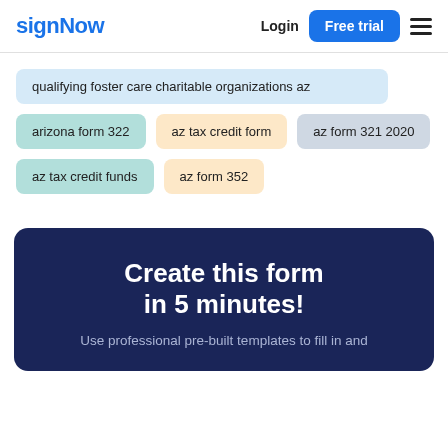signNow | Login | Free trial
qualifying foster care charitable organizations az
arizona form 322
az tax credit form
az form 321 2020
az tax credit funds
az form 352
Create this form in 5 minutes!
Use professional pre-built templates to fill in and